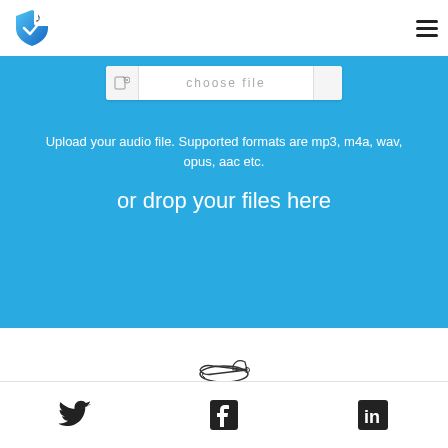[Figure (logo): Shield with checkmark and music note logo in top left]
[Figure (screenshot): Blue upload zone with choose file bar, text: Upload your audio file. Supported formats are mp3, m4a, wav, opus, aac etc. and or drop your files here]
Upload your audio file. Supported formats are mp3, m4a, wav, opus, aac etc.
or drop your files here
[Figure (illustration): Swiss army knife icon]
Fácil de usar
[Figure (illustration): Social media icons: Twitter bird, Facebook F, LinkedIn in]